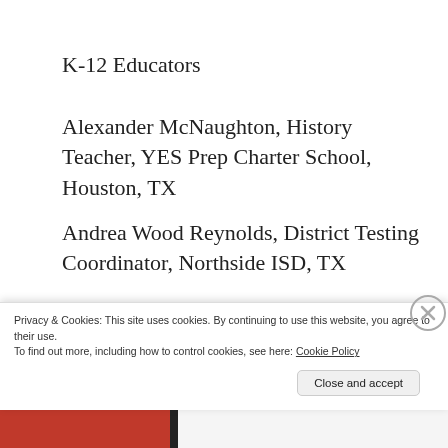K-12 Educators
Alexander McNaughton, History Teacher, YES Prep Charter School, Houston, TX
Andrea Wood Reynolds, District Testing Coordinator, Northside ISD, TX
Angela Atkinson Duina, Ed.D., Title I School Improvement Coordinator, Portland Public
Privacy & Cookies: This site uses cookies. By continuing to use this website, you agree to their use.
To find out more, including how to control cookies, see here: Cookie Policy
Close and accept